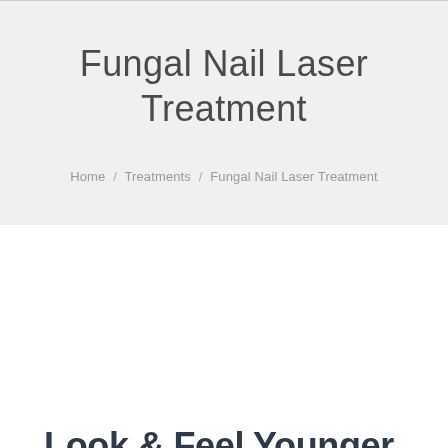Fungal Nail Laser Treatment
Home / Treatments / Fungal Nail Laser Treatment
Look & Feel Younger